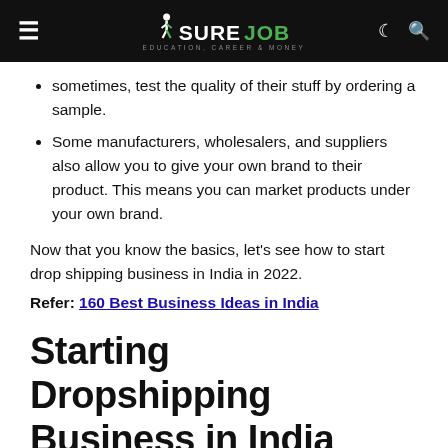SURE JOB — EDUCATION, CAREER & MONEY
sometimes, test the quality of their stuff by ordering a sample.
Some manufacturers, wholesalers, and suppliers also allow you to give your own brand to their product. This means you can market products under your own brand.
Now that you know the basics, let’s see how to start drop shipping business in India in 2022.
Refer: 160 Best Business Ideas in India
Starting Dropshipping Business in India